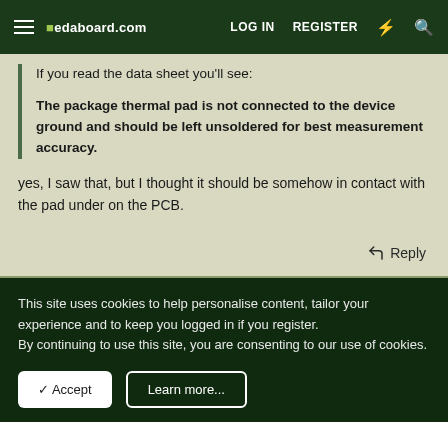edaboard.com | LOG IN | REGISTER
If you read the data sheet you'll see:
The package thermal pad is not connected to the device ground and should be left unsoldered for best measurement accuracy.
yes, I saw that, but I thought it should be somehow in contact with the pad under on the PCB.
Reply
This site uses cookies to help personalise content, tailor your experience and to keep you logged in if you register. By continuing to use this site, you are consenting to our use of cookies.